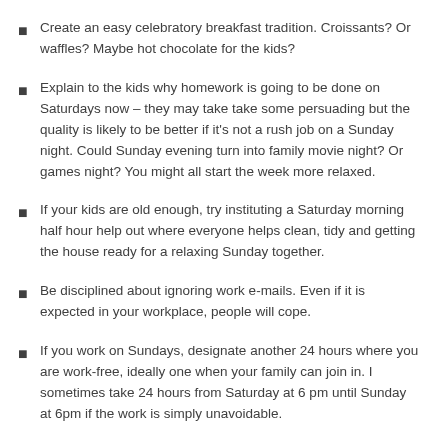Create an easy celebratory breakfast tradition. Croissants? Or waffles? Maybe hot chocolate for the kids?
Explain to the kids why homework is going to be done on Saturdays now – they may take take some persuading but the quality is likely to be better if it's not a rush job on a Sunday night. Could Sunday evening turn into family movie night? Or games night? You might all start the week more relaxed.
If your kids are old enough, try instituting a Saturday morning half hour help out where everyone helps clean, tidy and getting the house ready for a relaxing Sunday together.
Be disciplined about ignoring work e-mails. Even if it is expected in your workplace, people will cope.
If you work on Sundays, designate another 24 hours where you are work-free, ideally one when your family can join in. I sometimes take 24 hours from Saturday at 6 pm until Sunday at 6pm if the work is simply unavoidable.
Show yourself grace. It may take a few weeks before you get into